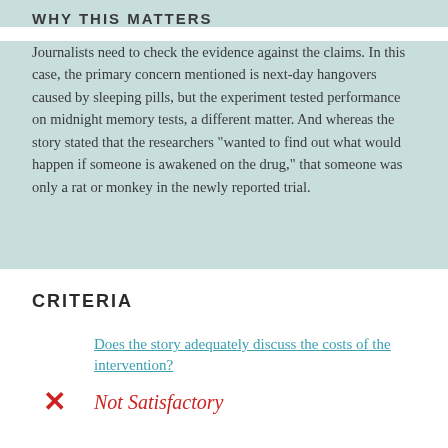WHY THIS MATTERS
Journalists need to check the evidence against the claims. In this case, the primary concern mentioned is next-day hangovers caused by sleeping pills, but the experiment tested performance on midnight memory tests, a different matter. And whereas the story stated that the researchers “wanted to find out what would happen if someone is awakened on the drug,” that someone was only a rat or monkey in the newly reported trial.
CRITERIA
Does the story adequately discuss the costs of the intervention?
Not Satisfactory